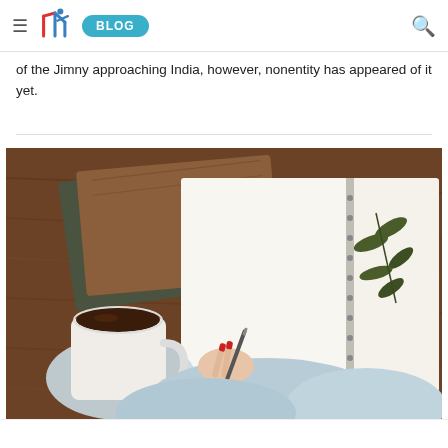≡ [SMI logo] BLOG 🔍
of the Jimny approaching India, however, nonentity has appeared of it yet.
[Figure (photo): Overhead view of a person writing in an open notebook on a wooden table, with a coffee cup in one hand and dried leaves pressed in the notebook. Stacked books/notebooks in the background.]